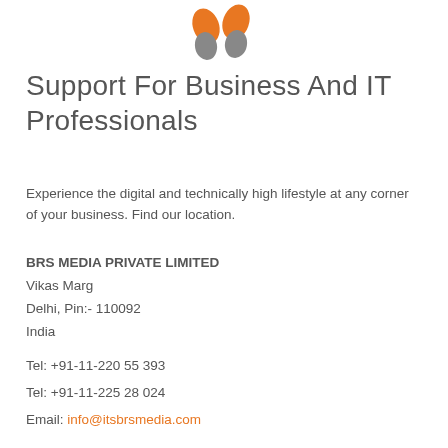[Figure (logo): Orange and grey logo icon for BRS Media at top center]
Support For Business And IT Professionals
Experience the digital and technically high lifestyle at any corner of your business. Find our location.
BRS MEDIA PRIVATE LIMITED
Vikas Marg
Delhi, Pin:- 110092
India
Tel: +91-11-220 55 393
Tel: +91-11-225 28 024
Email: info@itsbrsmedia.com